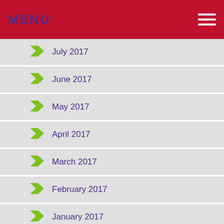MENU
July 2017
June 2017
May 2017
April 2017
March 2017
February 2017
January 2017
December 2016
November 2016
October 2016
September 2016
August 2016